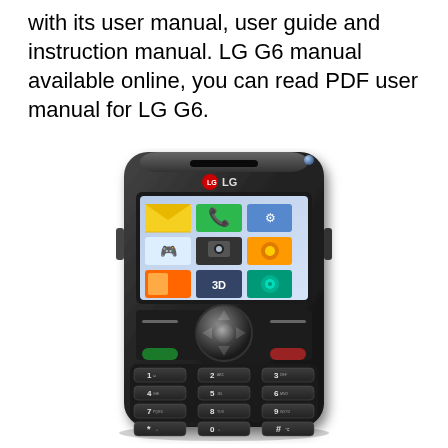with its user manual, user guide and instruction manual. LG G6 manual available online, you can read PDF user manual for LG G6.
[Figure (photo): LG G6 basic bar phone (black) shown at a slight angle, displaying a menu grid of icons on screen including messaging, contacts, games, camera, music, and settings apps. The phone has a numeric keypad.]